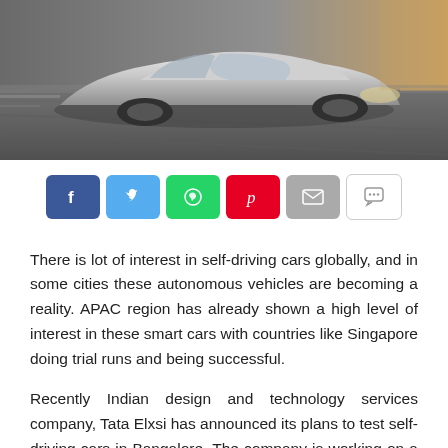[Figure (photo): A silver/grey modern electric sedan car driving on a highway at speed, motion blur in background, overhead perspective]
[Figure (infographic): Social sharing buttons row: Facebook (blue), Twitter (light blue), WhatsApp (green), Pinterest (red), Email (grey), Chat/Message (white with border)]
There is lot of interest in self-driving cars globally, and in some cities these autonomous vehicles are becoming a reality. APAC region has already shown a high level of interest in these smart cars with countries like Singapore doing trial runs and being successful.
Recently Indian design and technology services company, Tata Elxsi has announced its plans to test self-driving cars in Bangalore. The company is working on a platform that will enable autonomous vehicles. In fact, if the platform is